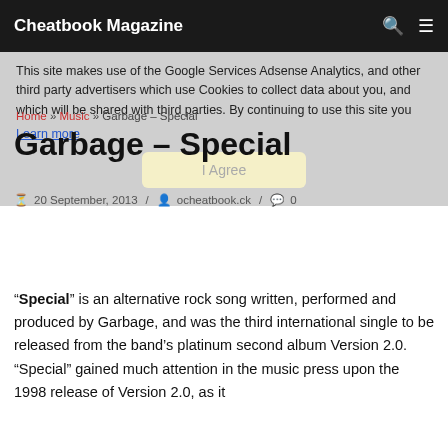Cheatbook Magazine
This site makes use of the Google Services Adsense Analytics, and other third party advertisers which use Cookies to collect data about you, and which will be shared with third parties. By continuing to use this site you
Learn more
I Agree
Home » Music » Garbage – Special
Garbage – Special
20 September, 2013  /  ocheatbook.ck  /  0
“Special” is an alternative rock song written, performed and produced by Garbage, and was the third international single to be released from the band’s platinum second album Version 2.0. “Special” gained much attention in the music press upon the 1998 release of Version 2.0, as it